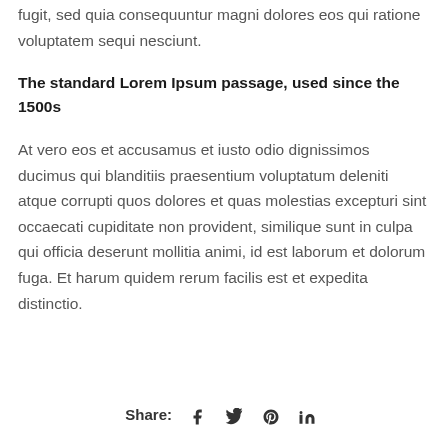fugit, sed quia consequuntur magni dolores eos qui ratione voluptatem sequi nesciunt.
The standard Lorem Ipsum passage, used since the 1500s
At vero eos et accusamus et iusto odio dignissimos ducimus qui blanditiis praesentium voluptatum deleniti atque corrupti quos dolores et quas molestias excepturi sint occaecati cupiditate non provident, similique sunt in culpa qui officia deserunt mollitia animi, id est laborum et dolorum fuga. Et harum quidem rerum facilis est et expedita distinctio.
Share:  [facebook] [twitter] [pinterest] [linkedin]